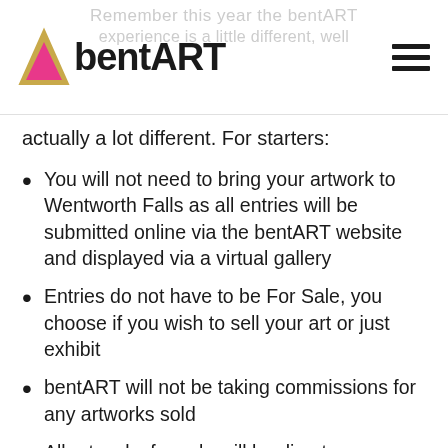bentART
Remember this year the bentART experience is a little different, well actually a lot different. For starters:
You will not need to bring your artwork to Wentworth Falls as all entries will be submitted online via the bentART website and displayed via a virtual gallery
Entries do not have to be For Sale, you choose if you wish to sell your art or just exhibit
bentART will not be taking commissions for any artworks sold
All artworks for sale will be direct